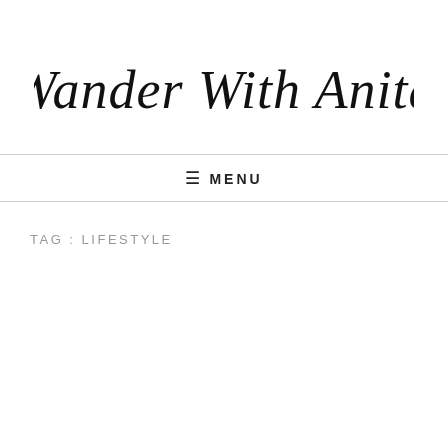Wander With Anita
☰ MENU
TAG : LIFESTYLE